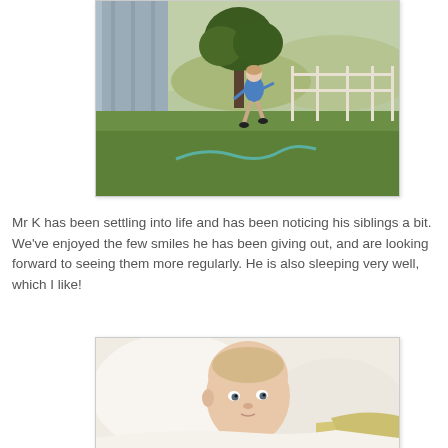[Figure (photo): A child in a blue top running across a green lawn next to a grey barn building, with a tree and fenced area and hills in the background. A garden hose is visible on the grass.]
Mr K has been settling into life and has been noticing his siblings a bit. We've enjoyed the few smiles he has been giving out, and are looking forward to seeing them more regularly. He is also sleeping very well, which I like!
[Figure (photo): A newborn baby lying on white blankets, looking toward the camera with alert eyes, wearing a yellow top.]